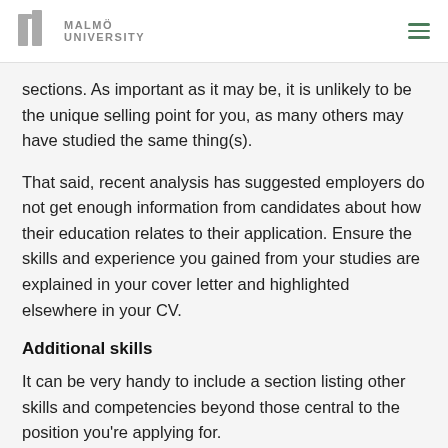MALMÖ UNIVERSITY
sections. As important as it may be, it is unlikely to be the unique selling point for you, as many others may have studied the same thing(s).
That said, recent analysis has suggested employers do not get enough information from candidates about how their education relates to their application. Ensure the skills and experience you gained from your studies are explained in your cover letter and highlighted elsewhere in your CV.
Additional skills
It can be very handy to include a section listing other skills and competencies beyond those central to the position you're applying for.